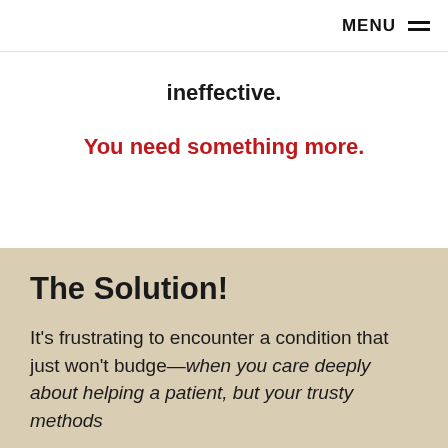MENU
ineffective.
You need something more.
The Solution!
It's frustrating to encounter a condition that just won't budge—when you care deeply about helping a patient, but your trusty methods